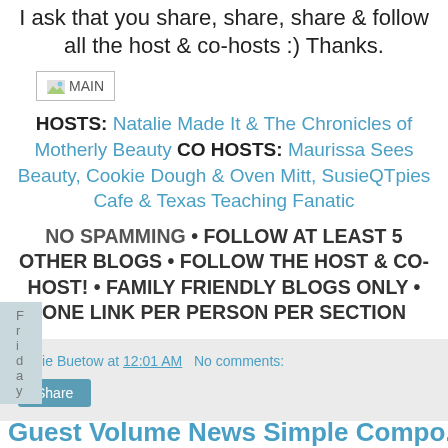I ask that you share, share, share & follow all the host & co-hosts :) Thanks.
[Figure (other): Broken image placeholder labeled MAIN]
HOSTS: Natalie Made It & The Chronicles of Motherly Beauty CO HOSTS: Maurissa Sees Beauty, Cookie Dough & Oven Mitt, SusieQTpies Cafe & Texas Teaching Fanatic
NO SPAMMING • FOLLOW AT LEAST 5 OTHER BLOGS • FOLLOW THE HOST & CO-HOST! • FAMILY FRIENDLY BLOGS ONLY • ONE LINK PER PERSON PER SECTION
Susie Buetow at 12:01 AM   No comments:
Friday
Guest Volume News Simple Compo...